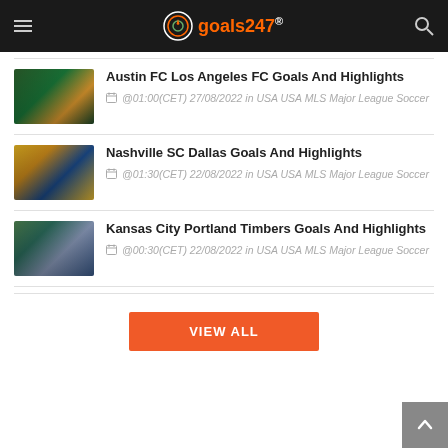goals247
Austin FC Los Angeles FC Goals And Highlights — @01:00(CET) 27/08/2022 in USA USA MLS Major League Soccer
Nashville SC Dallas Goals And Highlights — @01:30(CET) 22/08/2022 in USA USA MLS Major League Soccer
Kansas City Portland Timbers Goals And Highlights — @00:30(CET) 22/08/2022 in USA USA MLS Major League Soccer
VIEW ALL